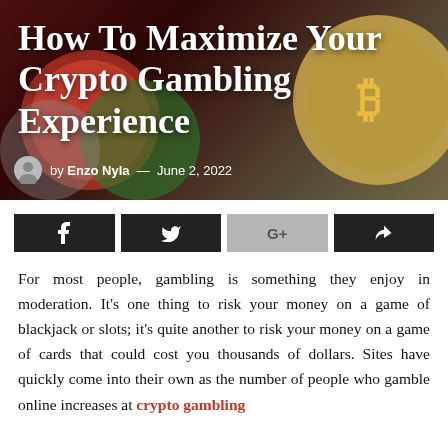[Figure (photo): Hero image with casino chips and a gold Bitcoin coin on a dark red/brown background]
How To Maximize Your Crypto Gambling Experience
by Enzo Nyla — June 2, 2022
[Figure (infographic): Social share bar with four buttons: Facebook (f), Twitter (bird), Google+ (G+), and Share (arrow)]
For most people, gambling is something they enjoy in moderation. It's one thing to risk your money on a game of blackjack or slots; it's quite another to risk your money on a game of cards that could cost you thousands of dollars. Sites have quickly come into their own as the number of people who gamble online increases at crypto gambling